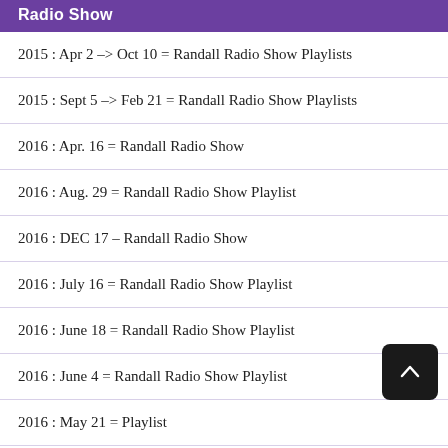Radio Show
2015 : Apr 2 –> Oct 10 = Randall Radio Show Playlists
2015 : Sept 5 –> Feb 21 = Randall Radio Show Playlists
2016 : Apr. 16 = Randall Radio Show
2016 : Aug. 29 = Randall Radio Show Playlist
2016 : DEC 17 – Randall Radio Show
2016 : July 16 = Randall Radio Show Playlist
2016 : June 18 = Randall Radio Show Playlist
2016 : June 4 = Randall Radio Show Playlist
2016 : May 21 = Playlist
2016 : May 7 = Randall Radio Show
2016 : Nov 5 – Randall Radio Show: In memory of Geoff